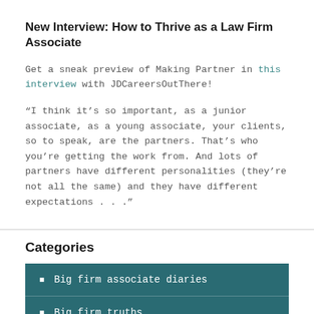New Interview: How to Thrive as a Law Firm Associate
Get a sneak preview of Making Partner in this interview with JDCareersOutThere!
“I think it’s so important, as a junior associate, as a young associate, your clients, so to speak, are the partners. That’s who you’re getting the work from. And lots of partners have different personalities (they’re not all the same) and they have different expectations . . .”
Categories
Big firm associate diaries
Big firm truths
Dream job tips
Effe… (partially visible)